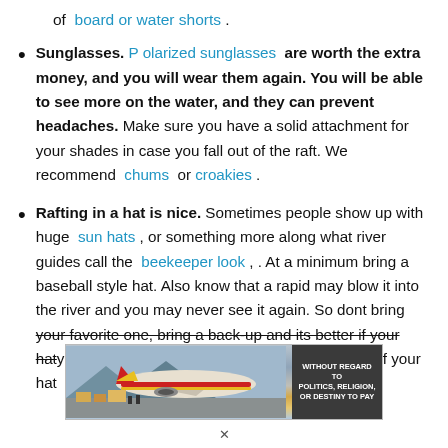of board or water shorts .
Sunglasses. Polarized sunglasses are worth the extra money, and you will wear them again. You will be able to see more on the water, and they can prevent headaches. Make sure you have a solid attachment for your shades in case you fall out of the raft. We recommend chums or croakies .
Rafting in a hat is nice. Sometimes people show up with huge sun hats , or something more along what river guides call the beekeeper look , . At a minimum bring a baseball style hat. Also know that a rapid may blow it into the river and you may never see it again. So dont bring your favorite one, bring a back-up and its better if your hat
[Figure (photo): Advertisement banner showing an airplane being loaded with cargo, with text 'WITHOUT REGARD TO POLITICS, RELIGION, OR DESTINY TO PAY']